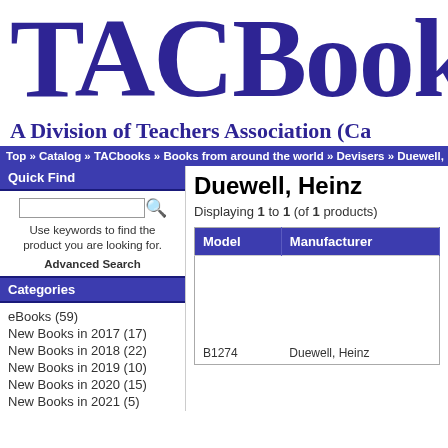TACBooks
A Division of Teachers Association (Ca...
Top » Catalog » TACbooks » Books from around the world » Devisers » Duewell, He...
Quick Find
Use keywords to find the product you are looking for. Advanced Search
Categories
eBooks (59)
New Books in 2017 (17)
New Books in 2018 (22)
New Books in 2019 (10)
New Books in 2020 (15)
New Books in 2021 (5)
Duewell, Heinz
Displaying 1 to 1 (of 1 products)
| Model | Manufacturer |
| --- | --- |
| B1274 | Duewell, Heinz |